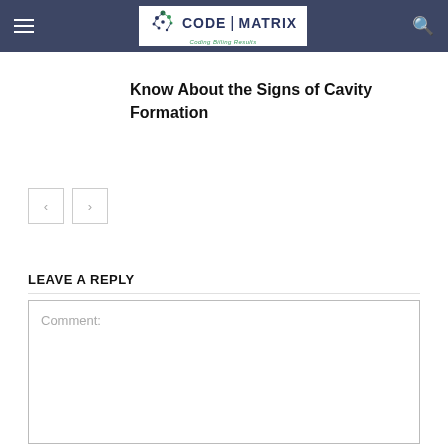Code Matrix — navigation header with logo, hamburger menu, and search icon
Know About the Signs of Cavity Formation
[Figure (other): Previous and Next navigation arrow buttons]
LEAVE A REPLY
Comment: